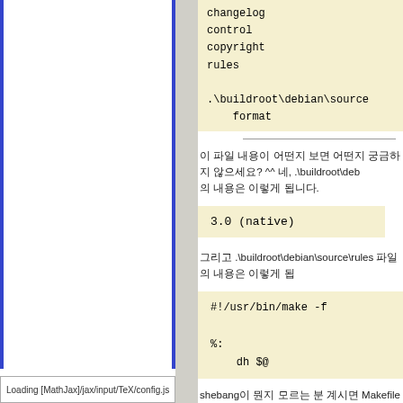[Figure (screenshot): Left panel of a web browser or document viewer showing white content area with blue borders on left and right sides]
changelog
control
copyright
rules

.\buildroot\debian\source
    format
이 파일 내용이 어떤지 보면 어떤지 궁금하지 않으세요? ^^ 네, .\buildroot\deb… 의 내용은 이렇게 됩니다.
3.0 (native)
그리고 .\buildroot\debian\source\rules 파일의 내용은 이렇게 됩
#!/usr/bin/make -f

%:
    dh $@
shebang이 뭔지 모르는 분 계시면 Makefile이랑, 앞에 있는 내용들을
Loading [MathJax]/jax/input/TeX/config.js